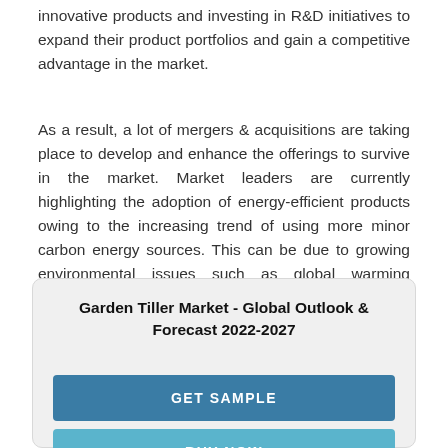innovative products and investing in R&D initiatives to expand their product portfolios and gain a competitive advantage in the market.
As a result, a lot of mergers & acquisitions are taking place to develop and enhance the offerings to survive in the market. Market leaders are currently highlighting the adoption of energy-efficient products owing to the increasing trend of using more minor carbon energy sources. This can be due to growing environmental issues such as global warming combined with gasoline or exhaust emissions.
Garden Tiller Market - Global Outlook & Forecast 2022-2027
GET SAMPLE
BUY NOW